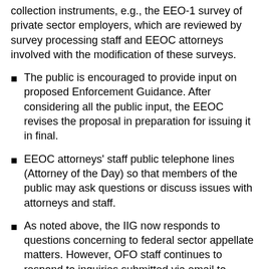collection instruments, e.g., the EEO-1 survey of private sector employers, which are reviewed by survey processing staff and EEOC attorneys involved with the modification of these surveys.
The public is encouraged to provide input on proposed Enforcement Guidance. After considering all the public input, the EEOC revises the proposal in preparation for issuing it in final.
EEOC attorneys' staff public telephone lines (Attorney of the Day) so that members of the public may ask questions or discuss issues with attorneys and staff.
As noted above, the IIG now responds to questions concerning to federal sector appellate matters. However, OFO staff continues to respond to inquiries submitted via email to ofo.eeoc@eeoc.gov.
EEOC's Office of Legal Counsel receives and reviews all